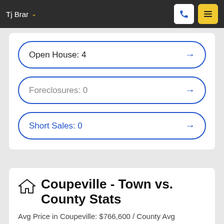Tj Brar
Open House: 4
Foreclosures: 0
Short Sales: 0
Coupeville - Town vs. County Stats
Avg Price in Coupeville: $766,600 / County Avg